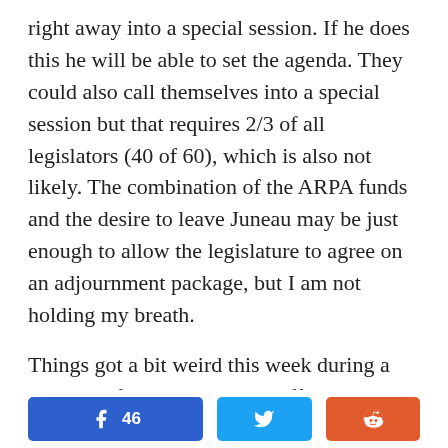right away into a special session. If he does this he will be able to set the agenda. They could also call themselves into a special session but that requires 2/3 of all legislators (40 of 60), which is also not likely. The combination of the ARPA funds and the desire to leave Juneau may be just enough to allow the legislature to agree on an adjournment package, but I am not holding my breath.
Things got a bit weird this week during a meeting of the Senate State Affairs Committee. Senator Mike Shower (R – Wasilla) is still trying to get his election reform bill out of the Committee, which he chairs.
[Figure (other): Social share buttons: Facebook (46 shares), Twitter, Reddit]